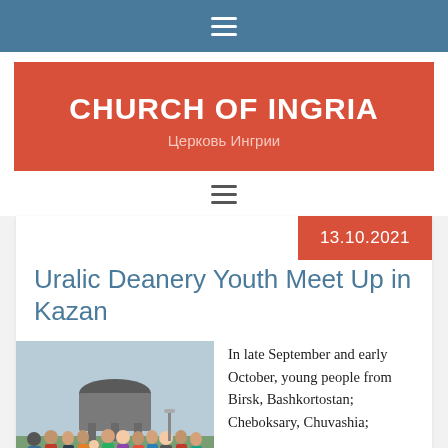≡
CHURCH OF INGRIA
Церковь Ингрии
≡
13.10.2021
Uralic Deanery Youth Meet Up in Kazan
[Figure (photo): Group photo of young people standing outdoors in front of a round architectural structure, in autumn clothing]
In late September and early October, young people from Birsk, Bashkortostan; Cheboksary, Chuvashia; [continues below]